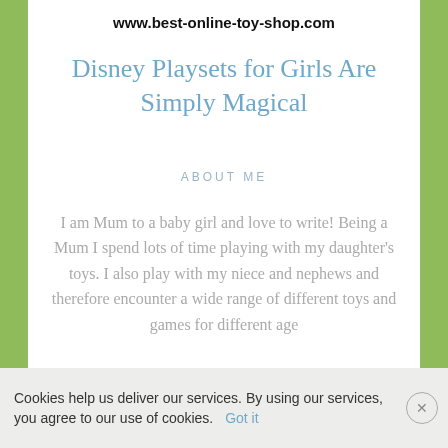www.best-online-toy-shop.com
Disney Playsets for Girls Are Simply Magical
ABOUT ME
I am Mum to a baby girl and love to write! Being a Mum I spend lots of time playing with my daughter's toys. I also play with my niece and nephews and therefore encounter a wide range of different toys and games for different age
Cookies help us deliver our services. By using our services, you agree to our use of cookies. Got it